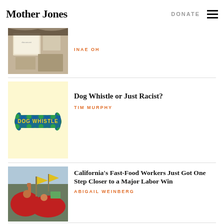Mother Jones | DONATE
[Figure (photo): Partial photo of items on a table (top portion cut off)]
INAE OH
[Figure (illustration): Dog Whistle illustration: bone-shaped figure with blue and green dots pattern, text 'DOG WHISTLE' in yellow on a light yellow background]
Dog Whistle or Just Racist?
TIM MURPHY
[Figure (photo): Photo of fast food workers protest, people in red shirts raising fists with yellow flags]
California’s Fast-Food Workers Just Got One Step Closer to a Major Labor Win
ABIGAIL WEINBERG